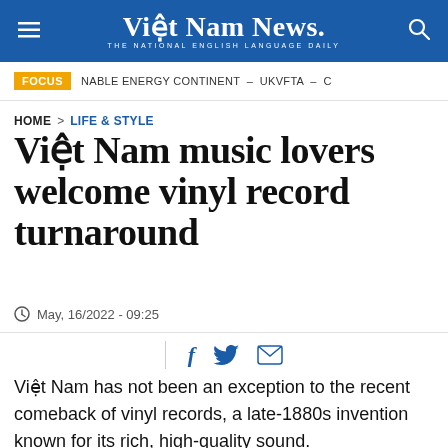Việt Nam News. THE NATIONAL ENGLISH LANGUAGE DAILY
FOCUS  NABLE ENERGY CONTINENT – UKVFTA – C
HOME > LIFE & STYLE
Việt Nam music lovers welcome vinyl record turnaround
May, 16/2022 - 09:25
Việt Nam has not been an exception to the recent comeback of vinyl records, a late-1880s invention known for its rich, high-quality sound.